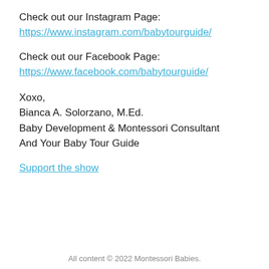Check out our Instagram Page:
https://www.instagram.com/babytourguide/
Check out our Facebook Page:
https://www.facebook.com/babytourguide/
Xoxo,
Bianca A. Solorzano, M.Ed.
Baby Development & Montessori Consultant
And Your Baby Tour Guide
Support the show
All content © 2022 Montessori Babies.